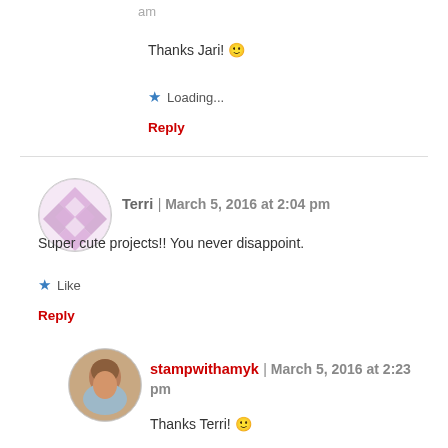am
Thanks Jari! 🙂
Loading...
Reply
Terri | March 5, 2016 at 2:04 pm
Super cute projects!! You never disappoint.
Like
Reply
stampwithamyk | March 5, 2016 at 2:23 pm
Thanks Terri! 🙂